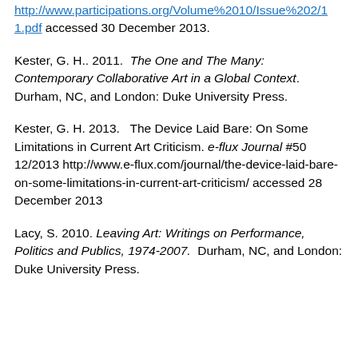http://www.participations.org/Volume%2010/Issue%202/11.pdf accessed 30 December 2013.
Kester, G. H.. 2011. The One and The Many: Contemporary Collaborative Art in a Global Context. Durham, NC, and London: Duke University Press.
Kester, G. H. 2013. The Device Laid Bare: On Some Limitations in Current Art Criticism. e-flux Journal #50 12/2013 http://www.e-flux.com/journal/the-device-laid-bare-on-some-limitations-in-current-art-criticism/ accessed 28 December 2013
Lacy, S. 2010. Leaving Art: Writings on Performance, Politics and Publics, 1974-2007. Durham, NC, and London: Duke University Press.